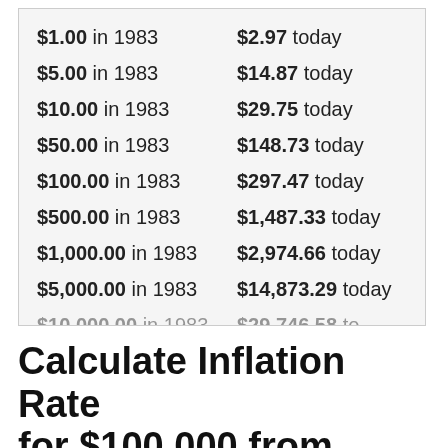| Amount in 1983 | Amount today |
| --- | --- |
| $1.00 in 1983 | $2.97 today |
| $5.00 in 1983 | $14.87 today |
| $10.00 in 1983 | $29.75 today |
| $50.00 in 1983 | $148.73 today |
| $100.00 in 1983 | $297.47 today |
| $500.00 in 1983 | $1,487.33 today |
| $1,000.00 in 1983 | $2,974.66 today |
| $5,000.00 in 1983 | $14,873.29 today |
| $10,000.00 in 1983 | $29,746.58 today |
Calculate Inflation Rate for $100,000 from 1983